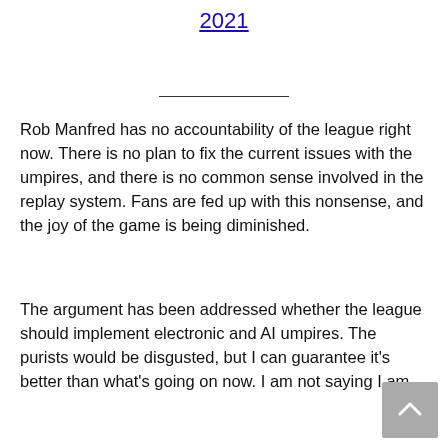2021
Rob Manfred has no accountability of the league right now. There is no plan to fix the current issues with the umpires, and there is no common sense involved in the replay system. Fans are fed up with this nonsense, and the joy of the game is being diminished.
The argument has been addressed whether the league should implement electronic and AI umpires. The purists would be disgusted, but I can guarantee it's better than what's going on now. I am not saying I am